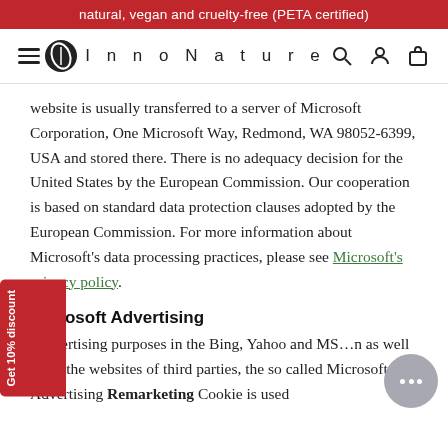natural, vegan and cruelty-free (PETA certified)
[Figure (logo): InnoNature website navigation bar with hamburger menu, InnoNature leaf logo and wordmark, search icon, user icon, and bag icon]
website is usually transferred to a server of Microsoft Corporation, One Microsoft Way, Redmond, WA 98052-6399, USA and stored there. There is no adequacy decision for the United States by the European Commission. Our cooperation is based on standard data protection clauses adopted by the European Commission. For more information about Microsoft's data processing practices, please see Microsoft's privacy policy.
Microsoft Advertising
...advertising purposes in the Bing, Yahoo and MS...n as well as on the websites of third parties, the so called Microsoft Advertising Remarketing Cookie is used